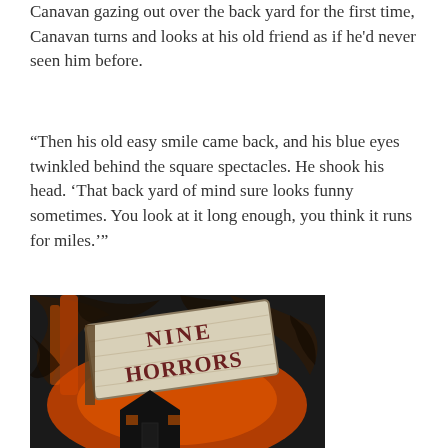Canavan gazing out over the back yard for the first time, Canavan turns and looks at his old friend as if he'd never seen him before.
“Then his old easy smile came back, and his blue eyes twinkled behind the square spectacles. He shook his head. ‘That back yard of mind sure looks funny sometimes. You look at it long enough, you think it runs for miles.’”
[Figure (photo): Book cover of 'Nine Horrors' showing a painted illustration with a wooden sign reading 'NINE HORRORS', dark swirling clouds in black and orange/red, and a house silhouette in the lower portion.]